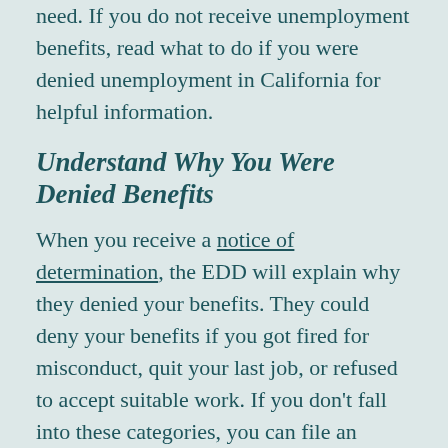need. If you do not receive unemployment benefits, read what to do if you were denied unemployment in California for helpful information.
Understand Why You Were Denied Benefits
When you receive a notice of determination, the EDD will explain why they denied your benefits. They could deny your benefits if you got fired for misconduct, quit your last job, or refused to accept suitable work. If you don't fall into these categories, you can file an appeal.
File an Unemployment Appeal Claim
If you get denied unemployment benefits, you have